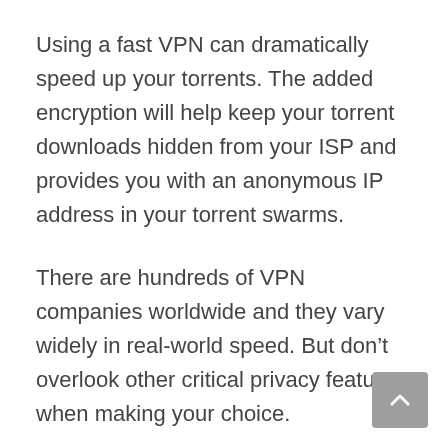Using a fast VPN can dramatically speed up your torrents. The added encryption will help keep your torrent downloads hidden from your ISP and provides you with an anonymous IP address in your torrent swarms.
There are hundreds of VPN companies worldwide and they vary widely in real-world speed. But don’t overlook other critical privacy features when making your choice.
What is the logging policy
What is the torrent policy
How good/easy to use is the software
Does it come with a kill switch/or other...